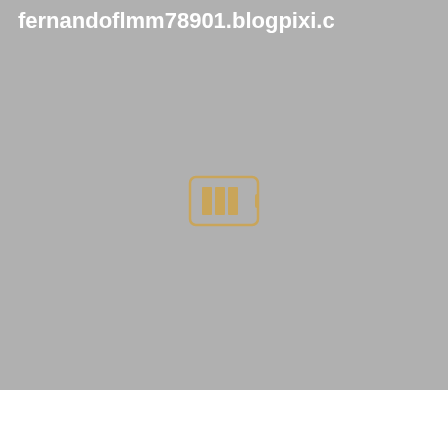fernandoflmm78901.blogpixi.c
[Figure (other): Loading/placeholder icon with golden/tan colored bar chart symbol centered on gray background]